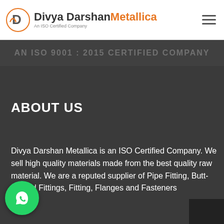Divya Darshan Metallica — An ISO Certified Company
AN ISO 9001 : 2015 CERTIFIED COMPANY
ABOUT US
Divya Darshan Metallica is an ISO Certified Company. We sell high quality materials made from the best quality raw material. We are a reputed supplier of Pipe Fitting, Butt-welded Fittings, Fitting, Flanges and Fasteners